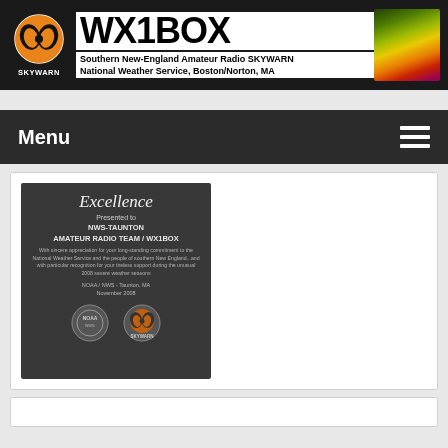[Figure (logo): WX1BOX SKYWARN banner header with logo, site title, and radar imagery background. Text: WX1BOX / Southern New-England Amateur Radio SKYWARN / National Weather Service, Boston/Norton, MA]
Menu
[Figure (photo): Photo of an Excellence award plaque/fabric presented to NWS-TAUNTON AMATEUR RADIO TEAM / WX1BOX. Text reads: Excellence / Presented to / NWS-TAUNTON / AMATEUR RADIO TEAM / WX1BOX / With sincere appreciation for your long-standing commitment to the National Weather Service and the people of southern New England...and with particular recognition for your tireless support during the unusual 2008 severe weather seasons / NOAA / NWS - Taunton, MA / November 2008. Shows NOAA and SKYWARN logos at bottom.]